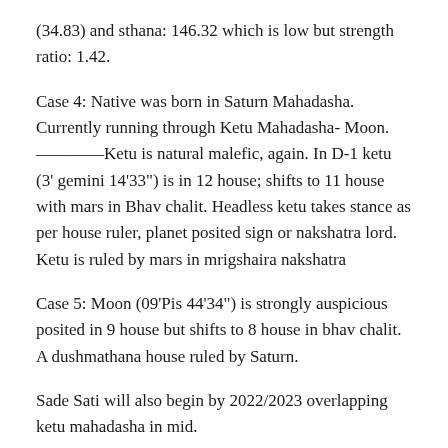(34.83) and sthana: 146.32 which is low but strength ratio: 1.42.
Case 4: Native was born in Saturn Mahadasha. Currently running through Ketu Mahadasha- Moon.
————Ketu is natural malefic, again. In D-1 ketu (3' gemini 14'33") is in 12 house; shifts to 11 house with mars in Bhav chalit. Headless ketu takes stance as per house ruler, planet posited sign or nakshatra lord. Ketu is ruled by mars in mrigshaira nakshatra
Case 5: Moon (09'Pis 44'34") is strongly auspicious posited in 9 house but shifts to 8 house in bhav chalit. A dushmathana house ruled by Saturn.
Sade Sati will also begin by 2022/2023 overlapping ketu mahadasha in mid.